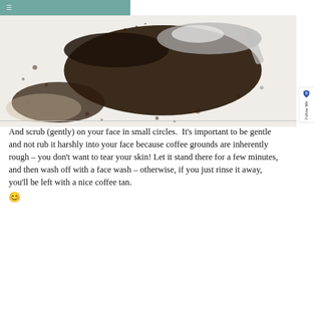≡
[Figure (photo): Close-up photo of dark coffee grounds spread on a white surface with a spoon, showing the coarse texture of the grounds against the white background.]
And scrub (gently) on your face in small circles.  It's important to be gentle and not rub it harshly into your face because coffee grounds are inherently rough – you don't want to tear your skin!  Let it stand there for a few minutes, and then wash off with a face wash – otherwise, if you just rinse it away, you'll be left with a nice coffee tan. 😊